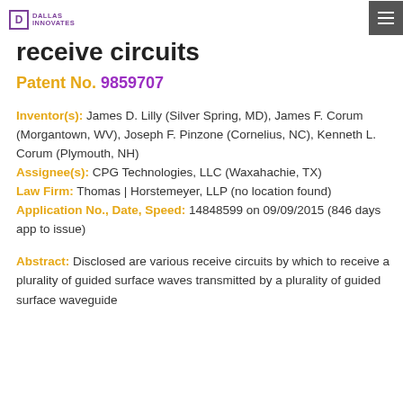Dallas Innovates
receive circuits
Patent No. 9859707
Inventor(s): James D. Lilly (Silver Spring, MD), James F. Corum (Morgantown, WV), Joseph F. Pinzone (Cornelius, NC), Kenneth L. Corum (Plymouth, NH)
Assignee(s): CPG Technologies, LLC (Waxahachie, TX)
Law Firm: Thomas | Horstemeyer, LLP (no location found)
Application No., Date, Speed: 14848599 on 09/09/2015 (846 days app to issue)
Abstract: Disclosed are various receive circuits by which to receive a plurality of guided surface waves transmitted by a plurality of guided surface waveguide